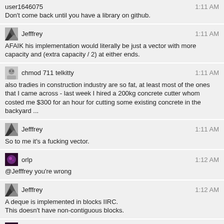user1646075 | 1:11 AM
Don't come back until you have a library on github.
Jefffrey | 1:11 AM
AFAIK his implementation would literally be just a vector with more capacity and (extra capacity / 2) at either ends.
chmod 711 telkitty | 1:11 AM
also tradies in construction industry are so fat, at least most of the ones that I came across - last week I hired a 200kg concrete cutter whom costed me $300 for an hour for cutting some existing concrete in the backyard ...
Jefffrey | 1:11 AM
So to me it's a fucking vector.
orlp | 1:12 AM
@Jefffrey you're wrong
Jefffrey | 1:12 AM
A deque is implemented in blocks IIRC.
This doesn't have non-contiguous blocks.
orlp | 1:12 AM
@Jefffrey it's not just double the capacity
Jefffrey | 1:12 AM
Just like a vector.